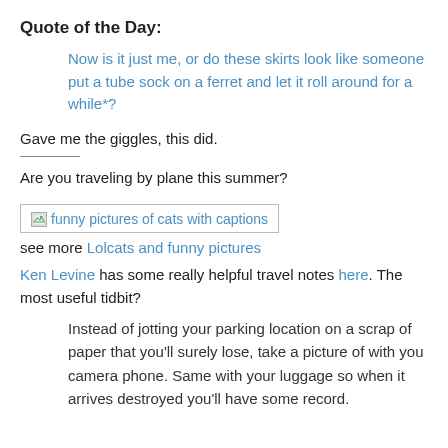Quote of the Day:
Now is it just me, or do these skirts look like someone put a tube sock on a ferret and let it roll around for a while*?
Gave me the giggles, this did.
Are you traveling by plane this summer?
[Figure (photo): Broken image placeholder labeled 'funny pictures of cats with captions']
see more Lolcats and funny pictures
Ken Levine has some really helpful travel notes here. The most useful tidbit?
Instead of jotting your parking location on a scrap of paper that you'll surely lose, take a picture of with you camera phone. Same with your luggage so when it arrives destroyed you'll have some record.